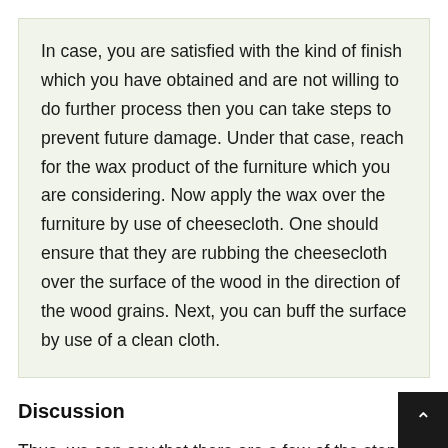In case, you are satisfied with the kind of finish which you have obtained and are not willing to do further process then you can take steps to prevent future damage. Under that case, reach for the wax product of the furniture which you are considering. Now apply the wax over the furniture by use of cheesecloth. One should ensure that they are rubbing the cheesecloth over the surface of the wood in the direction of the wood grains. Next, you can buff the surface by use of a clean cloth.
Discussion
Thus, we can say that there are a few of the steps which one can follow to ensure that they can clean their wood furniture. Each of these steps is important to ensure that